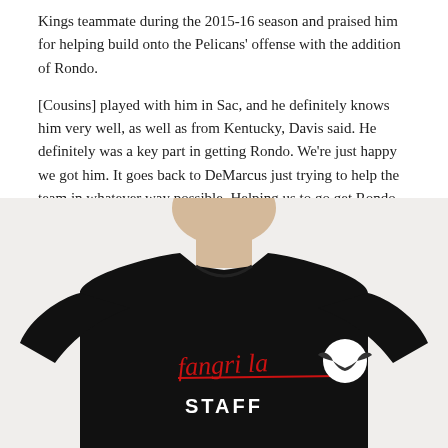Kings teammate during the 2015-16 season and praised him for helping build onto the Pelicans' offense with the addition of Rondo.
[Cousins] played with him in Sac, and he definitely knows him very well, as well as from Kentucky, Davis said. He definitely was a key part in getting Rondo. We're just happy we got him. It goes back to DeMarcus just trying to help the team in whatever way possible. Helping us to go get Rondo was one of those things.
[Figure (photo): A person wearing a black t-shirt with 'Fangri La' written in red cursive lettering and a white circle with bat wings logo, and 'STAFF' written below in white block letters.]